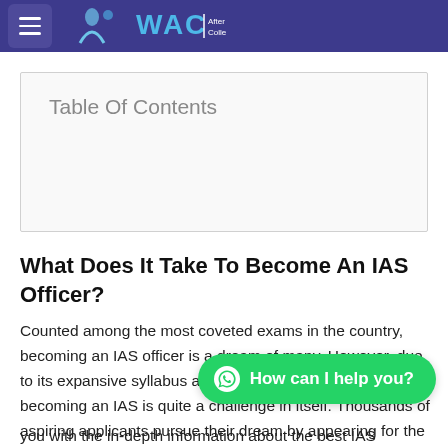WAC After College
| Table Of Contents |
| --- |
What Does It Take To Become An IAS Officer?
Counted among the most coveted exams in the country, becoming an IAS officer is a dream of many. However, due to its expansive syllabus and tough selection, the race to becoming an IAS is quite a challenge in itself. Thousands of aspiring applicants pursue their dream by appearing for the test, where only a few make it to the final list. This article will come to aid you by providing you with the in-depth information about the best IAS
[Figure (other): WhatsApp chat button with text 'How can I help you?']